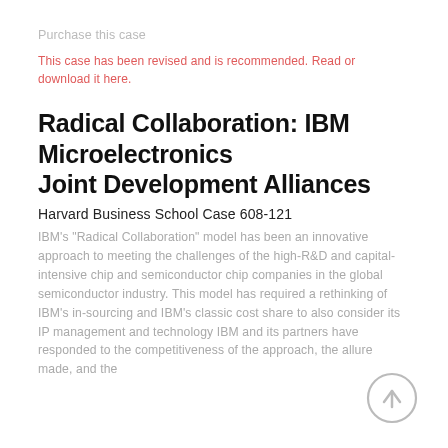Purchase this case
This case has been revised and is recommended. Read or download it here.
Radical Collaboration: IBM Microelectronics Joint Development Alliances
Harvard Business School Case 608-121
IBM's "Radical Collaboration" model has been an innovative approach to meeting the challenges of the high-R&D and capital-intensive chip and semiconductor chip companies in the global semiconductor industry. This model has required a rethinking of IBM's in-sourcing and IBM's classic cost share to also consider its IP management and technology IBM and its partners have responded to the competitiveness of the approach, the allure made, and the